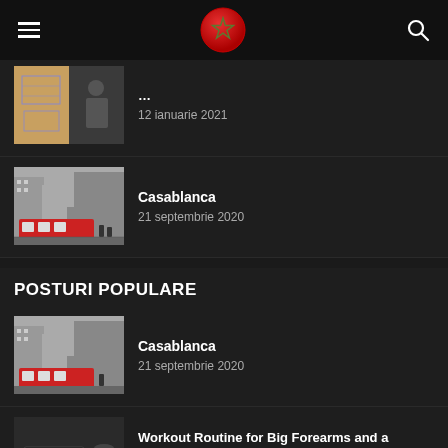Navigation header with hamburger menu, Morocco flag logo, and search icon
[Figure (screenshot): Partially visible article thumbnail with document/blueprint image]
... (truncated title)
12 ianuarie 2021
[Figure (photo): Casablanca tram street photo thumbnail]
Casablanca
21 septembrie 2020
POSTURI POPULARE
[Figure (photo): Casablanca tram street photo thumbnail]
Casablanca
21 septembrie 2020
[Figure (photo): Laptop with yellow sofa photo thumbnail]
Workout Routine for Big Forearms and a Crushing Grip
31 iulie 2019